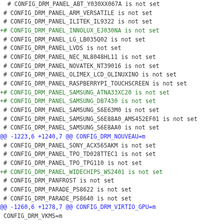# CONFIG_DRM_PANEL_ABT_Y030XX067A is not set
# CONFIG_DRM_PANEL_ARM_VERSATILE is not set
# CONFIG_DRM_PANEL_ILITEK_IL9322 is not set
+# CONFIG_DRM_PANEL_INNOLUX_EJ030NA is not set
# CONFIG_DRM_PANEL_LG_LB035Q02 is not set
# CONFIG_DRM_PANEL_LVDS is not set
# CONFIG_DRM_PANEL_NEC_NL8048HL11 is not set
# CONFIG_DRM_PANEL_NOVATEK_NT39016 is not set
# CONFIG_DRM_PANEL_OLIMEX_LCD_OLINUXINO is not set
# CONFIG_DRM_PANEL_RASPBERRYPI_TOUCHSCREEN is not set
+# CONFIG_DRM_PANEL_SAMSUNG_ATNA33XC20 is not set
+# CONFIG_DRM_PANEL_SAMSUNG_DB7430 is not set
# CONFIG_DRM_PANEL_SAMSUNG_S6E63M0 is not set
# CONFIG_DRM_PANEL_SAMSUNG_S6E88A0_AMS452EF01 is not set
# CONFIG_DRM_PANEL_SAMSUNG_S6E8AA0 is not set
@@ -1223,6 +1240,7 @@ CONFIG_DRM_NOUVEAU=m
# CONFIG_DRM_PANEL_SONY_ACX565AKM is not set
# CONFIG_DRM_PANEL_TPO_TD028TTEC1 is not set
# CONFIG_DRM_PANEL_TPO_TPG110 is not set
+# CONFIG_DRM_PANEL_WIDECHIPS_WS2401 is not set
# CONFIG_DRM_PANFROST is not set
# CONFIG_DRM_PARADE_PS8622 is not set
# CONFIG_DRM_PARADE_PS8640 is not set
@@ -1260,6 +1278,7 @@ CONFIG_DRM_VIRTIO_GPU=m
CONFIG_DRM_VKMS=m